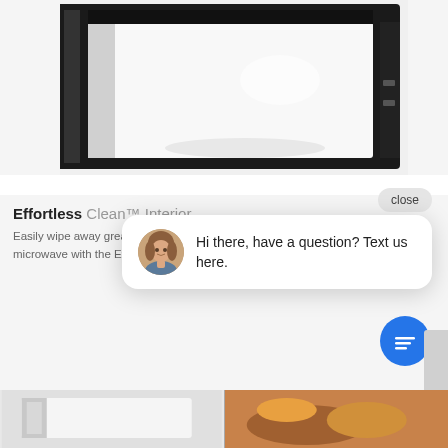[Figure (photo): Microwave oven with open door showing white interior cavity, black exterior, viewed from the front at an angle. The image is cropped showing the top and front portions.]
close
Effortless Clean™ Interior
Easily wipe away grease and food spills from your microwave with the Effortless Clean™ Interior surface.
[Figure (screenshot): Chat popup widget showing a circular avatar photo of a woman with brown hair, and the text: Hi there, have a question? Text us here. There is also a blue circular chat icon button below the popup.]
[Figure (photo): Bottom strip showing two partial product/food images cropped at the bottom of the page.]